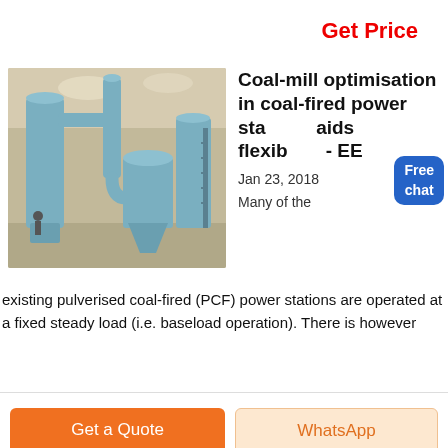Get Price
[Figure (photo): Industrial coal mill / pulveriser machinery with blue cylindrical towers and pipes inside a warehouse]
Coal-mill optimisation in coal-fired power stations aids flexibility - EE
Jan 23, 2018
Many of the existing pulverised coal-fired (PCF) power stations are operated at a fixed steady load (i.e. baseload operation). There is however
Get a Quote
WhatsApp